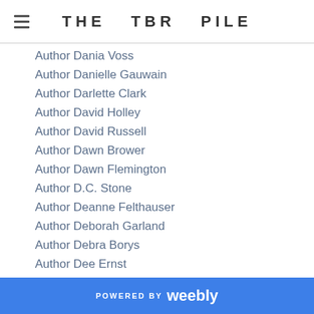THE TBR PILE
Author Dania Voss
Author Danielle Gauwain
Author Darlette Clark
Author David Holley
Author David Russell
Author Dawn Brower
Author Dawn Flemington
Author D.C. Stone
Author Deanne Felthauser
Author Deborah Garland
Author Debra Borys
Author Dee Ernst
Author Dee Willson
Author Deidre Huesmann
Author Delilah Fawkes
Author Delilah Hunt
Author Denise Jaden
POWERED BY weebly